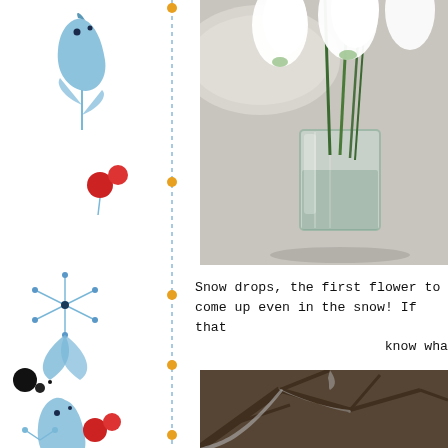[Figure (illustration): Decorative watercolor illustration strip on left side with blue bird/flower motifs, red berries, black dots, blue leaves and botanical elements on white background with a vertical dashed blue line with orange dots]
[Figure (photo): Close-up photograph of white snowdrop flowers in a glass vase on a light grey surface]
Snow drops, the first flower to come up even in the snow! If that know wha
[Figure (photo): Photograph of snow-covered tree branches, dark bark visible through snow]